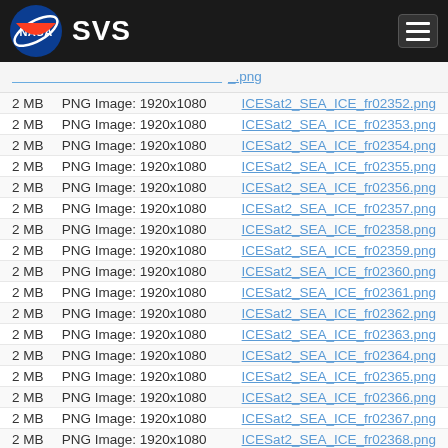[Figure (logo): NASA SVS website header with NASA meatball logo, SVS text, and hamburger menu button on dark background]
2 MB  PNG Image: 1920x1080  ICESat2_SEA_ICE_fr02352.png
2 MB  PNG Image: 1920x1080  ICESat2_SEA_ICE_fr02353.png
2 MB  PNG Image: 1920x1080  ICESat2_SEA_ICE_fr02354.png
2 MB  PNG Image: 1920x1080  ICESat2_SEA_ICE_fr02355.png
2 MB  PNG Image: 1920x1080  ICESat2_SEA_ICE_fr02356.png
2 MB  PNG Image: 1920x1080  ICESat2_SEA_ICE_fr02357.png
2 MB  PNG Image: 1920x1080  ICESat2_SEA_ICE_fr02358.png
2 MB  PNG Image: 1920x1080  ICESat2_SEA_ICE_fr02359.png
2 MB  PNG Image: 1920x1080  ICESat2_SEA_ICE_fr02360.png
2 MB  PNG Image: 1920x1080  ICESat2_SEA_ICE_fr02361.png
2 MB  PNG Image: 1920x1080  ICESat2_SEA_ICE_fr02362.png
2 MB  PNG Image: 1920x1080  ICESat2_SEA_ICE_fr02363.png
2 MB  PNG Image: 1920x1080  ICESat2_SEA_ICE_fr02364.png
2 MB  PNG Image: 1920x1080  ICESat2_SEA_ICE_fr02365.png
2 MB  PNG Image: 1920x1080  ICESat2_SEA_ICE_fr02366.png
2 MB  PNG Image: 1920x1080  ICESat2_SEA_ICE_fr02367.png
2 MB  PNG Image: 1920x1080  ICESat2_SEA_ICE_fr02368.png
2 MB  PNG Image: 1920x1080  ICESat2_SEA_ICE_fr02369.png
2 MB  PNG Image: 1920x1080  ICESat2_SEA_ICE_fr02370.png